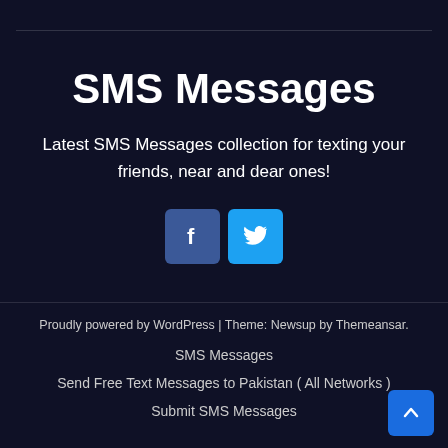SMS Messages
Latest SMS Messages collection for texting your friends, near and dear ones!
[Figure (infographic): Two social media icon buttons: Facebook (dark blue square with 'f' icon) and Twitter (light blue square with bird icon)]
Proudly powered by WordPress | Theme: Newsup by Themeansar.
SMS Messages
Send Free Text Messages to Pakistan ( All Networks )
Submit SMS Messages